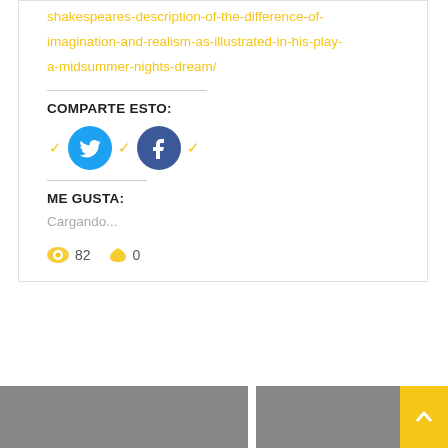shakespeares-description-of-the-difference-of-imagination-and-realism-as-illustrated-in-his-play-a-midsummer-nights-dream/
COMPARTE ESTO:
[Figure (infographic): Social share buttons: Twitter (blue circle with bird icon) and Facebook (dark blue circle with f icon), with yellow checkmarks]
ME GUSTA:
Cargando...
82  0
[Figure (photo): Two gray image thumbnails at the bottom of the page, with a yellow button with up arrow on the right]